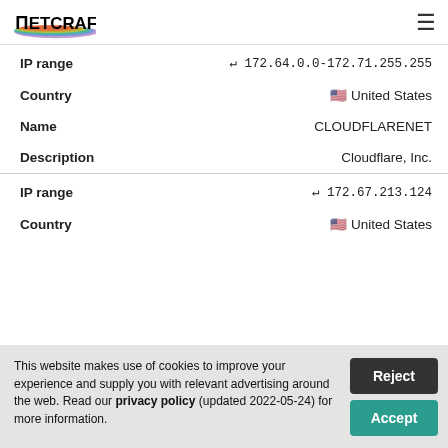Netcraft
| Field | Value |
| --- | --- |
| IP range | 4 172.64.0.0-172.71.255.255 |
| Country | United States |
| Name | CLOUDFLARENET |
| Description | Cloudflare, Inc. |
| IP range | 4 172.67.213.124 |
| Country | United States |
This website makes use of cookies to improve your experience and supply you with relevant advertising around the web. Read our privacy policy (updated 2022-05-24) for more information.